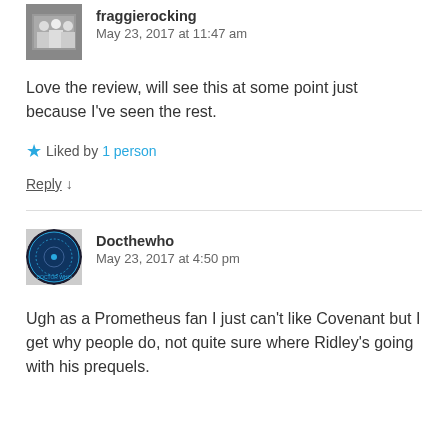fraggierocking
May 23, 2017 at 11:47 am
Love the review, will see this at some point just because I've seen the rest.
★ Liked by 1 person
Reply ↓
Docthewho
May 23, 2017 at 4:50 pm
Ugh as a Prometheus fan I just can't like Covenant but I get why people do, not quite sure where Ridley's going with his prequels.